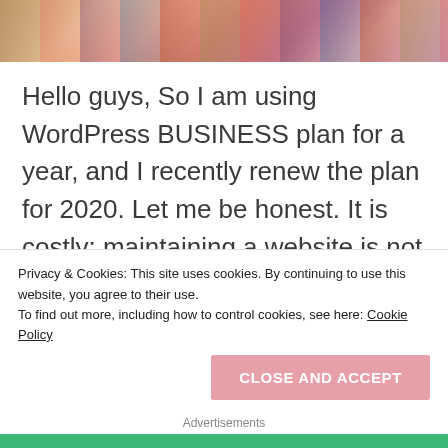[Figure (photo): Partial photo strip at top of page showing people at what appears to be an outdoor event or market, cropped to show only the bottom portion.]
Hello guys, So I am using WordPress BUSINESS plan for a year, and I recently renew the plan for 2020. Let me be honest. It is costly; maintaining a website is not at all easy. As ad revenue only plays a role when you have a vast viewership. But if you have good content and an engaging audience(just like you guys which I am very grateful for), then you can earn from some collaborations/sponsored posts. So currently I
Privacy & Cookies: This site uses cookies. By continuing to use this website, you agree to their use.
To find out more, including how to control cookies, see here: Cookie Policy
CLOSE AND ACCEPT
Advertisements